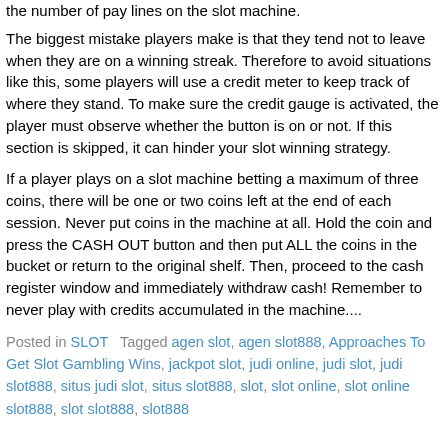the number of pay lines on the slot machine.
The biggest mistake players make is that they tend not to leave when they are on a winning streak. Therefore to avoid situations like this, some players will use a credit meter to keep track of where they stand. To make sure the credit gauge is activated, the player must observe whether the button is on or not. If this section is skipped, it can hinder your slot winning strategy.
If a player plays on a slot machine betting a maximum of three coins, there will be one or two coins left at the end of each session. Never put coins in the machine at all. Hold the coin and press the CASH OUT button and then put ALL the coins in the bucket or return to the original shelf. Then, proceed to the cash register window and immediately withdraw cash! Remember to never play with credits accumulated in the machine....
Posted in SLOT   Tagged agen slot, agen slot888, Approaches To Get Slot Gambling Wins, jackpot slot, judi online, judi slot, judi slot888, situs judi slot, situs slot888, slot, slot online, slot online slot888, slot slot888, slot888